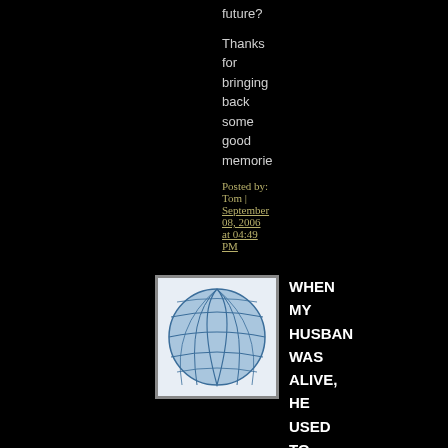future?
Thanks for bringing back some good memories
Posted by: Tom | September 08, 2006 at 04:49 PM
[Figure (illustration): Blue geometric sphere/globe illustration with grid lines on white background]
WHEN MY HUSBAND WAS ALIVE, HE USED TO SING